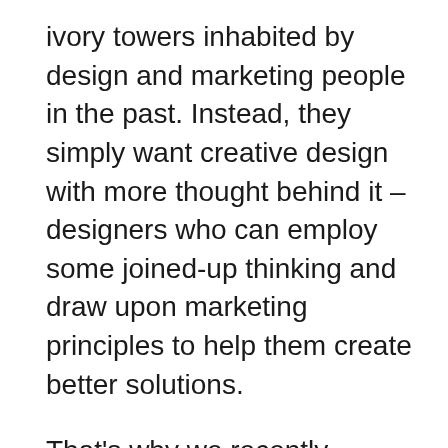ivory towers inhabited by design and marketing people in the past. Instead, they simply want creative design with more thought behind it – designers who can employ some joined-up thinking and draw upon marketing principles to help them create better solutions.
That's why we recently engaged in some joined-up thinking of our own and developed a marketing consultancy service, The Marketing Practice, to run in parallel to our established group, The Design Practice. The two can work in isolation if needs be, but in practice we have found a degree of crossover on almost every project we handle. Even if this is as simple as testing out creative thoughts against a marketing sounding board, it ensures every idea given to the client has relevance and